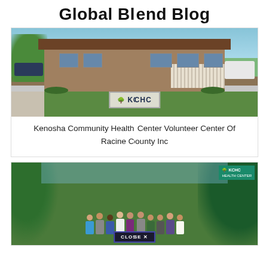Global Blend Blog
[Figure (photo): Exterior photo of Kenosha Community Health Center (KCHC) building with sign in foreground showing KCHC logo, green lawn, parking lot, sunny day]
Kenosha Community Health Center Volunteer Center Of Racine County Inc
[Figure (photo): Group photo of approximately 12 people standing outdoors in front of KCHC banner, with a 'CLOSE X' button overlay at the bottom]